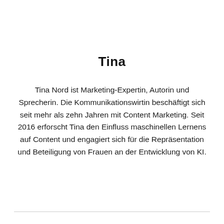Tina
Tina Nord ist Marketing-Expertin, Autorin und Sprecherin. Die Kommunikationswirtin beschäftigt sich seit mehr als zehn Jahren mit Content Marketing. Seit 2016 erforscht Tina den Einfluss maschinellen Lernens auf Content und engagiert sich für die Repräsentation und Beteiligung von Frauen an der Entwicklung von KI.